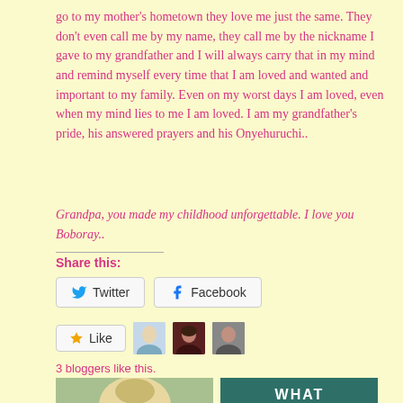go to my mother's hometown they love me just the same. They don't even call me by my name, they call me by the nickname I gave to my grandfather and I will always carry that in my mind and remind myself every time that I am loved and wanted and important to my family. Even on my worst days I am loved, even when my mind lies to me I am loved. I am my grandfather's pride, his answered prayers and his Onyehuruchi..
Grandpa, you made my childhood unforgettable. I love you Boboray..
Share this:
Twitter   Facebook
Like   3 bloggers like this.
[Figure (photo): Bottom row: two thumbnail images side by side. Left shows a person with light hair outdoors (green background). Right shows a teal/dark green background with bold white text reading WHAT IS YOUR...]